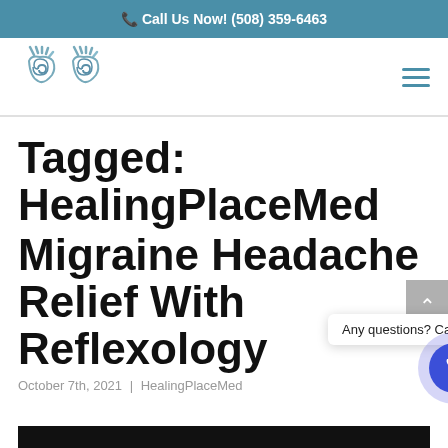Call Us Now! (508) 359-6463
[Figure (logo): HealingPlaceMed logo with two spiral hands graphic in teal/blue]
Tagged: HealingPlaceMed
Migraine Headache Relief With Reflexology
October 7th, 2021 | HealingPlaceMed
[Figure (photo): Bottom portion of article thumbnail image, black background visible]
[Figure (infographic): Call us popup tooltip and blue phone button circle overlay]